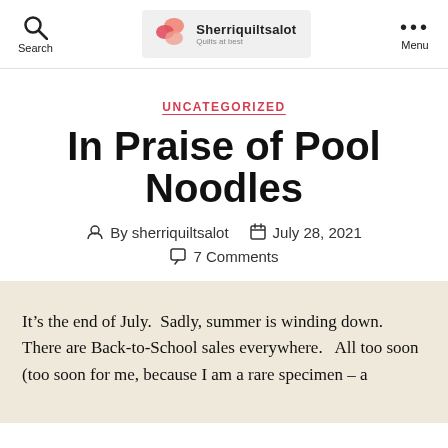Search | Sherriquiltsalot Quilts at best | Menu
UNCATEGORIZED
In Praise of Pool Noodles
By sherriquiltsalot   July 28, 2021   7 Comments
It’s the end of July.  Sadly, summer is winding down.  There are Back-to-School sales everywhere.   All too soon (too soon for me, because I am a rare specimen – a